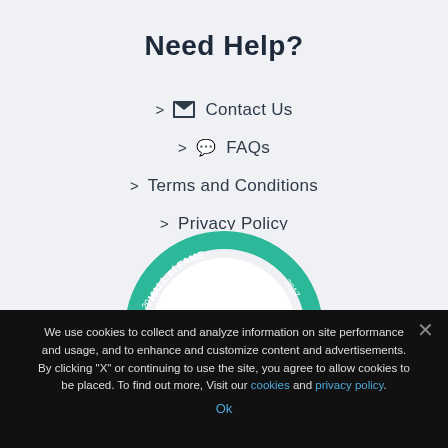Need Help?
> Contact Us
> FAQs
> Terms and Conditions
> Privacy Policy
[Figure (illustration): TripAdvisor Hall of Fame 2019 Certificate of Excellence badge, circular green seal with years 2016, 2017 around the edge]
We use cookies to collect and analyze information on site performance and usage, and to enhance and customize content and advertisements. By clicking "X" or continuing to use the site, you agree to allow cookies to be placed. To find out more, Visit our cookies and privacy policy.
Ok